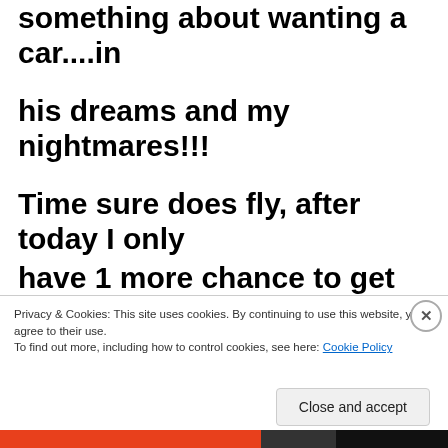something about wanting a car....in his dreams and my nightmares!!! Time sure does fly, after today I only have 1 more chance to get that “first day of school” picture, then he’s off to college!!! Where does the time go...
Privacy & Cookies: This site uses cookies. By continuing to use this website, you agree to their use.
To find out more, including how to control cookies, see here: Cookie Policy
Close and accept